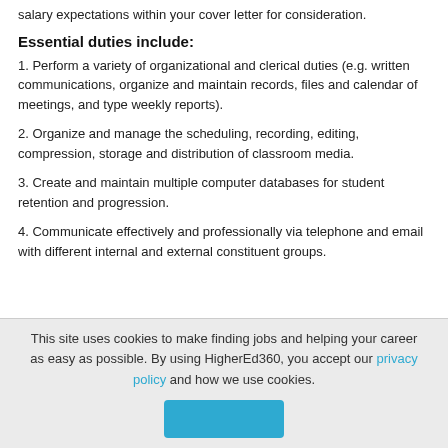salary expectations within your cover letter for consideration.
Essential duties include:
1. Perform a variety of organizational and clerical duties (e.g. written communications, organize and maintain records, files and calendar of meetings, and type weekly reports).
2. Organize and manage the scheduling, recording, editing, compression, storage and distribution of classroom media.
3. Create and maintain multiple computer databases for student retention and progression.
4. Communicate effectively and professionally via telephone and email with different internal and external constituent groups.
This site uses cookies to make finding jobs and helping your career as easy as possible. By using HigherEd360, you accept our privacy policy and how we use cookies.